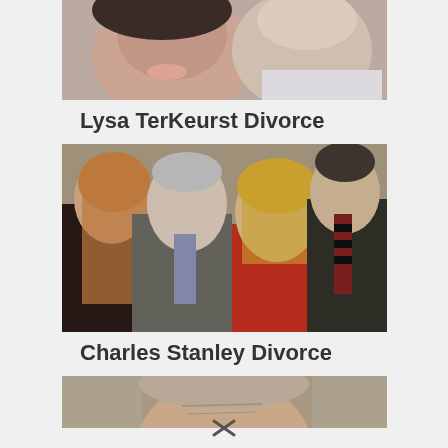[Figure (photo): Cropped photo showing faces of two people (woman with dark hair smiling, man visible to the right), partially cut off at top]
Lysa TerKeurst Divorce
[Figure (photo): Group photo of four people: young woman with long red-blonde hair in black dress, older man in grey suit with patterned tie, woman in red dress, and young man in dark suit with striped tie]
Charles Stanley Divorce
[Figure (photo): Partial photo showing top of an older man's face/head, cut off at bottom of page]